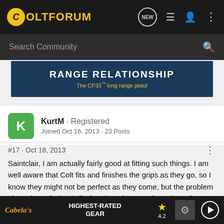ColtForum
Search Community
[Figure (screenshot): Ad banner: RANGE RELATIONSHIP - The CP33™ long range pistol]
KurtM · Registered
Joined Oct 16, 2013 · 23 Posts
#17 · Oct 18, 2013
Saintclair, I am actually fairly good at fitting such things. I am well aware that Colt fits and finishes the grips as they go, so I know they might not be perfect as they come, but the problem I have been facing is finding the grips. Just form these forums and from very knowledgeable Colt owners such as yourself I now have... thank you!!!
[Figure (screenshot): Cabela's HIGHEST-RATED GEAR ad with star rating 4.2 and play button]